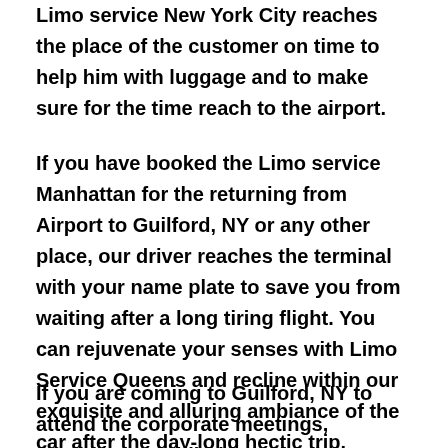Limo service New York City reaches the place of the customer on time to help him with luggage and to make sure for the time reach to the airport.
If you have booked the Limo service Manhattan for the returning from Airport to Guilford, NY or any other place, our driver reaches the terminal with your name plate to save you from waiting after a long tiring flight. You can rejuvenate your senses with Limo Service Queens and recline within our exquisite and alluring ambiance of the car after the day-long hectic trip.
If you are coming to Guilford, NY to attend the corporate meetings, conference, exhibition or business transactions, we at Limo service Bronx